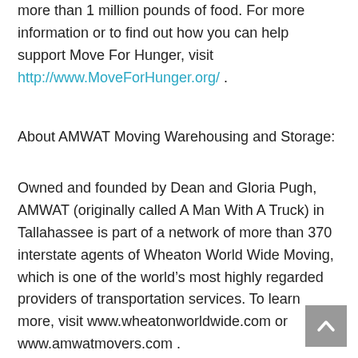more than 1 million pounds of food. For more information or to find out how you can help support Move For Hunger, visit http://www.MoveForHunger.org/ .
About AMWAT Moving Warehousing and Storage:
Owned and founded by Dean and Gloria Pugh, AMWAT (originally called A Man With A Truck) in Tallahassee is part of a network of more than 370 interstate agents of Wheaton World Wide Moving, which is one of the world’s most highly regarded providers of transportation services. To learn more, visit www.wheatonworldwide.com or www.amwatmovers.com .